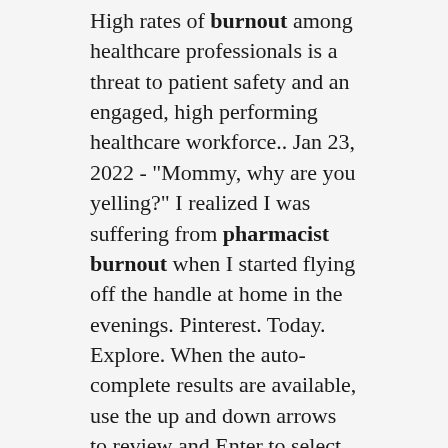High rates of burnout among healthcare professionals is a threat to patient safety and an engaged, high performing healthcare workforce.. Jan 23, 2022 - "Mommy, why are you yelling?" I realized I was suffering from pharmacist burnout when I started flying off the handle at home in the evenings. Pinterest. Today. Explore. When the auto-complete results are available, use the up and down arrows to review and Enter to select. Touch device users can explore by touch or with swipe gestures. Log in . Sign up. Explore.. WEEK 1: 90-Day Career Jumpstart + Career Scorecard Assessment. Meet with your coach for the first time. You'll create a 90-day plan together by identifying the top areas of opportunity and what's needed to improve. WEEKS 2-3: Identify Top Career Paths. WEEKS 4-5: Evaluate New Career Path. The World Health Organisation states that burnout